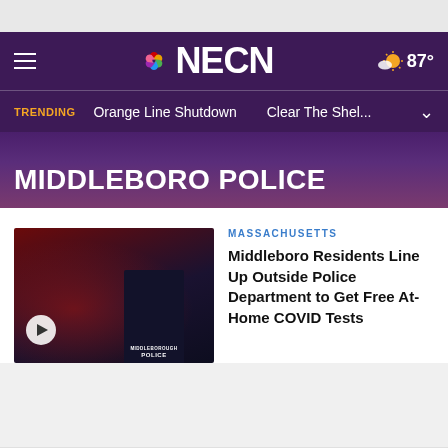NECN — 87°
TRENDING   Orange Line Shutdown   Clear The Shel...
MIDDLEBORO POLICE
[Figure (photo): Police officer in Middleborough Police jacket standing next to a red car at night, with a video play button overlay]
MASSACHUSETTS
Middleboro Residents Line Up Outside Police Department to Get Free At-Home COVID Tests